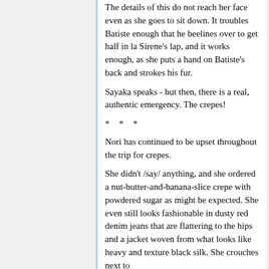The details of this do not reach her face even as she goes to sit down. It troubles Batiste enough that he beelines over to get half in la Sirene's lap, and it works enough, as she puts a hand on Batiste's back and strokes his fur.
Sayaka speaks - but then, there is a real, authentic emergency. The crepes!
* * *
Nori has continued to be upset throughout the trip for crepes.
She didn't /say/ anything, and she ordered a nut-butter-and-banana-slice crepe with powdered sugar as might be expected. She even still looks fashionable in dusty red denim jeans that are flattering to the hips and a jacket woven from what looks like heavy and texture black silk. She crouches next to the wall like an li...